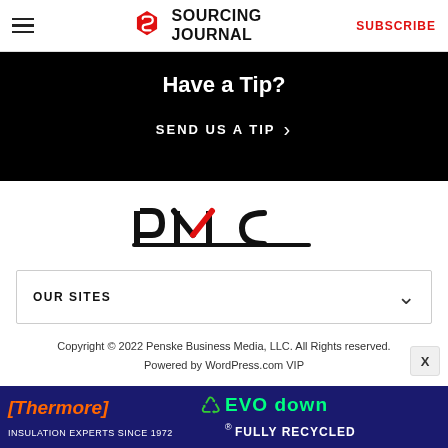Sourcing Journal — SUBSCRIBE
Have a Tip?
SEND US A TIP >
[Figure (logo): PMC logo — stylized letters P, M, C in black with red accent on the M]
OUR SITES
Copyright © 2022 Penske Business Media, LLC. All Rights reserved. Powered by WordPress.com VIP
[Figure (photo): Thermore EVO down insulation advertisement banner — orange/green neon text on dark blue background. Thermore Insulation Experts Since 1972, EVO down Fully Recycled with recycling logo.]